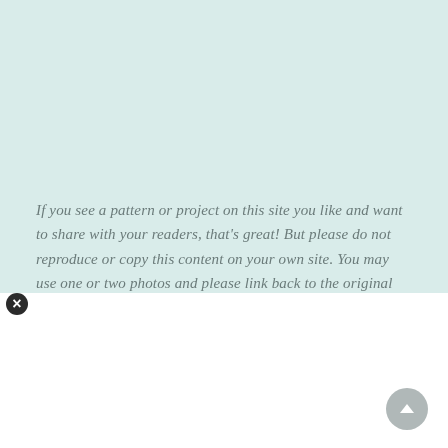If you see a pattern or project on this site you like and want to share with your readers, that's great! But please do not reproduce or copy this content on your own site. You may use one or two photos and please link back to the original post on So Sew Easy. Thank you.